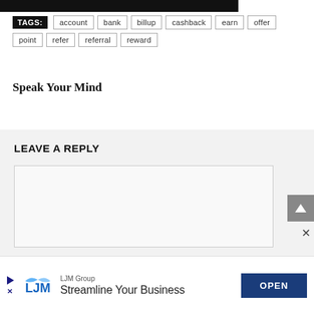[Figure (screenshot): Top portion of a dark image, partially visible at top of page]
TAGS: account bank billup cashback earn offer point refer referral reward
Speak Your Mind
LEAVE A REPLY
[Figure (screenshot): Comment text area input box inside Leave a Reply form section]
[Figure (infographic): LJM Group advertisement banner: LJM logo, 'LJM Group', 'Streamline Your Business', OPEN button]